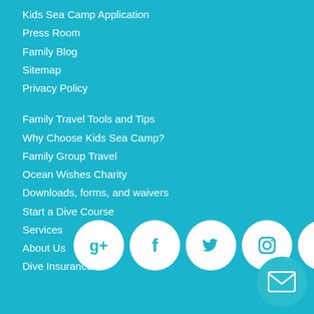Kids Sea Camp Application
Press Room
Family Blog
Sitemap
Privacy Policy
Family Travel Tools and Tips
Why Choose Kids Sea Camp?
Family Group Travel
Ocean Wishes Charity
Downloads, forms, and waivers
Start a Dive Course
Services
About Us
Dive Insurance
[Figure (infographic): Social media icons in white circles on teal background: Google+, Facebook, Twitter, Instagram, Pinterest, YouTube, and an email envelope button]